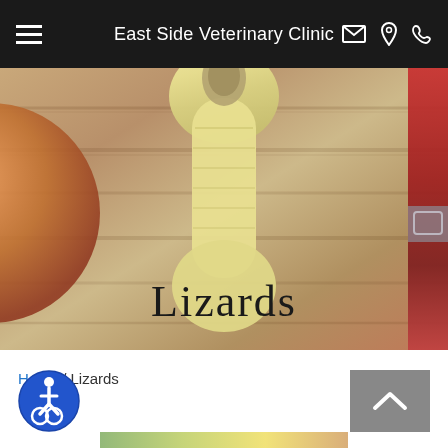East Side Veterinary Clinic
[Figure (photo): Hero image with wooden background, pale yellow bone-shaped pet toy, orange bowl on left, red collar strap on right, with 'Lizards' text overlay]
Lizards
Home / Lizards
[Figure (photo): Accessibility icon button - blue circle with white wheelchair user symbol]
[Figure (other): Back to top button - grey rectangle with white upward chevron arrow]